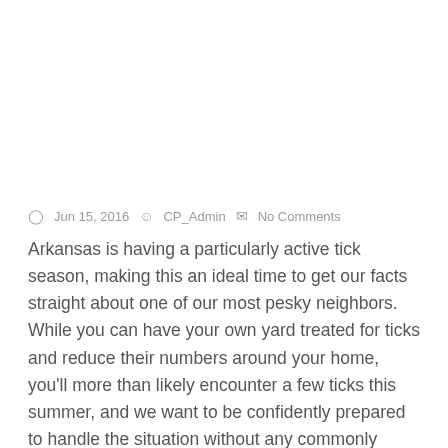🕐  Jun 15, 2016  😊  CP_Admin  💬  No Comments
Arkansas is having a particularly active tick season, making this an ideal time to get our facts straight about one of our most pesky neighbors. While you can have your own yard treated for ticks and reduce their numbers around your home, you'll more than likely encounter a few ticks this summer, and we want to be confidently prepared to handle the situation without any commonly believed myths clouding your judgment.
MYTH 1: IF A TICK BITES